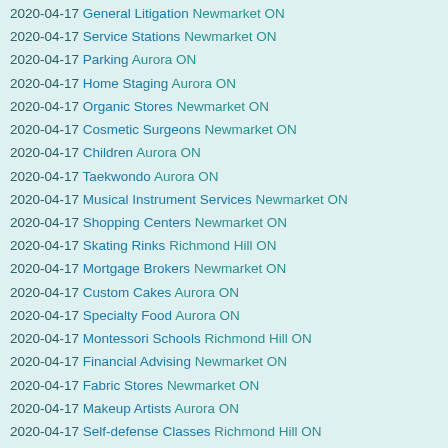2020-04-17 General Litigation Newmarket ON
2020-04-17 Service Stations Newmarket ON
2020-04-17 Parking Aurora ON
2020-04-17 Home Staging Aurora ON
2020-04-17 Organic Stores Newmarket ON
2020-04-17 Cosmetic Surgeons Newmarket ON
2020-04-17 Children Aurora ON
2020-04-17 Taekwondo Aurora ON
2020-04-17 Musical Instrument Services Newmarket ON
2020-04-17 Shopping Centers Newmarket ON
2020-04-17 Skating Rinks Richmond Hill ON
2020-04-17 Mortgage Brokers Newmarket ON
2020-04-17 Custom Cakes Aurora ON
2020-04-17 Specialty Food Aurora ON
2020-04-17 Montessori Schools Richmond Hill ON
2020-04-17 Financial Advising Newmarket ON
2020-04-17 Fabric Stores Newmarket ON
2020-04-17 Makeup Artists Aurora ON
2020-04-17 Self-defense Classes Richmond Hill ON
2020-04-17 Video Game Stores Newmarket ON
2020-04-17 Urgent Care Aurora ON
2020-04-17 Acupuncture Newmarket ON
2020-04-17 Day Spas Aurora ON